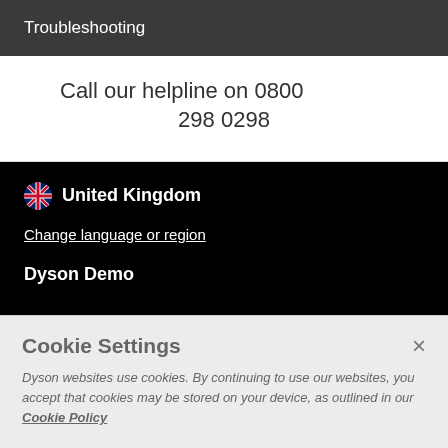Troubleshooting
Call our helpline on 0800 298 0298
United Kingdom
Change language or region
Dyson Demo
Cookie Settings
Dyson websites use cookies. By continuing to use our websites, you accept that cookies may be stored on your device, as outlined in our Cookie Policy